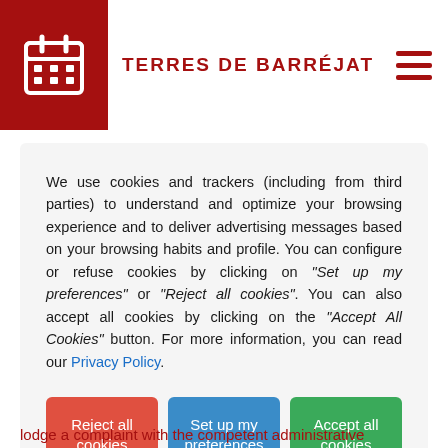TERRES DE BARRÉJAT
We use cookies and trackers (including from third parties) to understand and optimize your browsing experience and to deliver advertising messages based on your browsing habits and profile. You can configure or refuse cookies by clicking on "Set up my preferences" or "Reject all cookies". You can also accept all cookies by clicking on the "Accept All Cookies" button. For more information, you can read our Privacy Policy.
Reject all cookies
Set up my preferences
Accept all cookies
lodge a complaint with the competent administrative